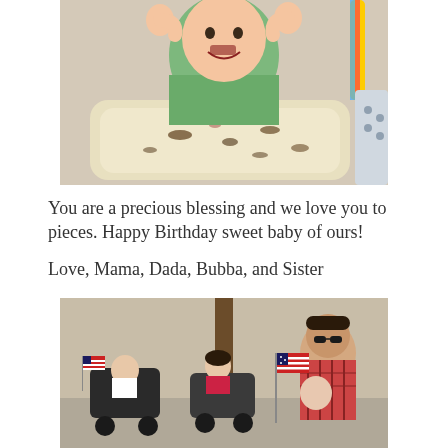[Figure (photo): Baby sitting in a high chair with food mess on the tray, smiling with hands raised, wearing a green floral bib, with a colorful toy in the background]
You are a precious blessing and we love you to pieces.  Happy Birthday sweet baby of ours!
Love, Mama, Dada, Bubba, and Sister
[Figure (photo): Children sitting in strollers and a man holding an American flag at what appears to be a July 4th parade, outdoors on a sunny day]